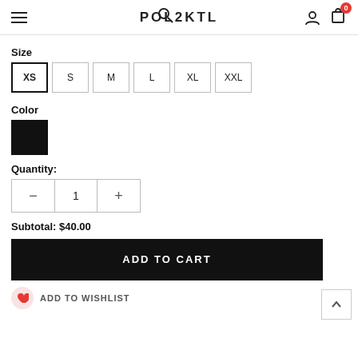POL2KTL — navigation header with hamburger menu, search, logo, user icon, cart (0)
Size
XS (selected), S, M, L, XL, XXL
Color
[Figure (other): Black color swatch square]
Quantity: 1
Subtotal: $40.00
ADD TO CART
ADD TO WISHLIST